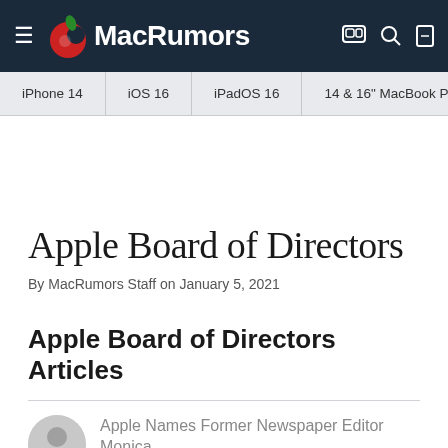MacRumors
iPhone 14 | iOS 16 | iPadOS 16 | 14 & 16" MacBook P
Apple Board of Directors
By MacRumors Staff on January 5, 2021
Apple Board of Directors Articles
Apple Names Former Newspaper Editor Monica